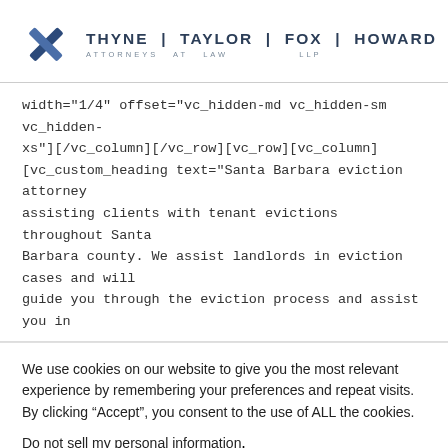[Figure (logo): Thyne Taylor Fox Howard LLP law firm logo with blue X mark icon and firm name text]
width="1/4" offset="vc_hidden-md vc_hidden-sm vc_hidden-xs"][/vc_column][/vc_row][vc_row][vc_column][vc_custom_heading text="Santa Barbara eviction attorney assisting clients with tenant evictions throughout Santa Barbara county. We assist landlords in eviction cases and will guide you through the eviction process and assist you in
We use cookies on our website to give you the most relevant experience by remembering your preferences and repeat visits. By clicking “Accept”, you consent to the use of ALL the cookies.
Do not sell my personal information.